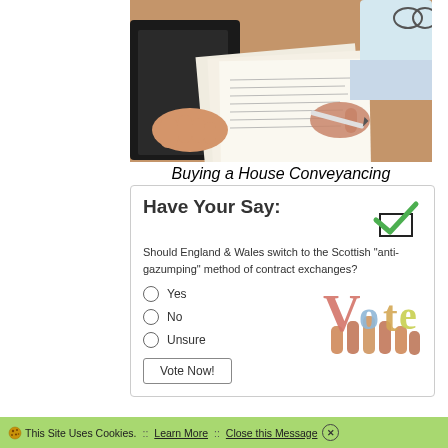[Figure (photo): Two people reviewing documents at a desk, one pointing with a pen at papers; a house conveyancing consultation scene.]
Buying a House Conveyancing
[Figure (infographic): Poll box titled 'Have Your Say:' with a green checkmark icon, asking 'Should England & Wales switch to the Scottish "anti-gazumping" method of contract exchanges?' with radio options Yes, No, Unsure, a Vote Now! button, and a colorful 'Vote' text graphic held by hands.]
This Site Uses Cookies. :: Learn More :: Close this Message ×